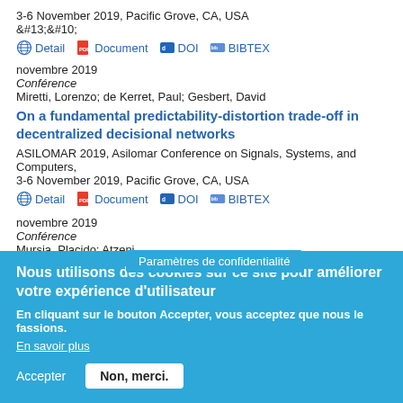3-6 November 2019, Pacific Grove, CA, USA
&#13;&#10;
Detail  Document  DOI  BIBTEX
novembre 2019
Conférence
Miretti, Lorenzo; de Kerret, Paul; Gesbert, David
On a fundamental predictability-distortion trade-off in decentralized decisional networks
ASILOMAR 2019, Asilomar Conference on Signals, Systems, and Computers, 3-6 November 2019, Pacific Grove, CA, USA
Detail  Document  DOI  BIBTEX
novembre 2019
Conférence
Mursia, Placido; Atzeni  David
Paramètres de confidentialité
Nous utilisons des cookies sur ce site pour améliorer votre expérience d'utilisateur
En cliquant sur le bouton Accepter, vous acceptez que nous le fassions.
En savoir plus
Accepter  Non, merci.